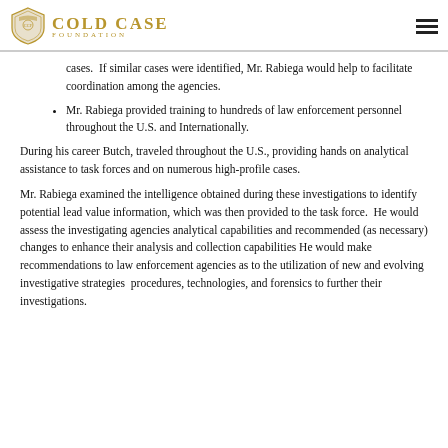Cold Case Foundation
cases.  If similar cases were identified, Mr. Rabiega would help to facilitate coordination among the agencies.
Mr. Rabiega provided training to hundreds of law enforcement personnel throughout the U.S. and Internationally.
During his career Butch, traveled throughout the U.S., providing hands on analytical assistance to task forces and on numerous high-profile cases.
Mr. Rabiega examined the intelligence obtained during these investigations to identify potential lead value information, which was then provided to the task force.  He would assess the investigating agencies analytical capabilities and recommended (as necessary) changes to enhance their analysis and collection capabilities He would make recommendations to law enforcement agencies as to the utilization of new and evolving investigative strategies  procedures, technologies, and forensics to further their investigations.